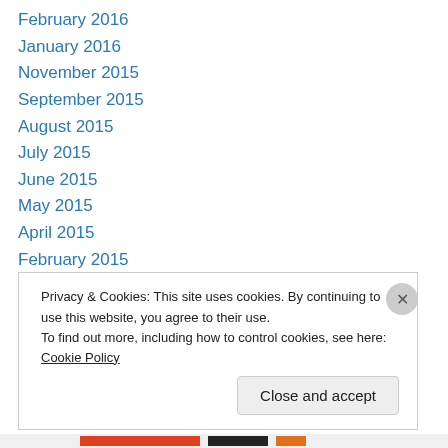February 2016
January 2016
November 2015
September 2015
August 2015
July 2015
June 2015
May 2015
April 2015
February 2015
January 2015
December 2014
November 2014
Privacy & Cookies: This site uses cookies. By continuing to use this website, you agree to their use. To find out more, including how to control cookies, see here: Cookie Policy